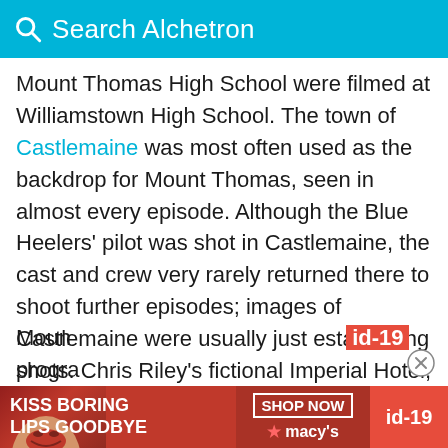Search Alchetron
Mount Thomas High School were filmed at Williamstown High School. The town of Castlemaine was most often used as the backdrop for Mount Thomas, seen in almost every episode. Although the Blue Heelers' pilot was shot in Castlemaine, the cast and crew very rarely returned there to shoot further episodes; images of Castlemaine were usually just establishing shots. Chris Riley's fictional Imperial Hotel, for example, was actually the real Imperial Hotel in Castlemaine. Mount Thomas' fictional Commercial Hotel was filmed at the Willy Tavern in Williamstown. The second Mount Thomas' fictional... progra...
[Figure (screenshot): Advertisement banner for Macy's cosmetics with 'KISS BORING LIPS GOODBYE' text and SHOP NOW button]